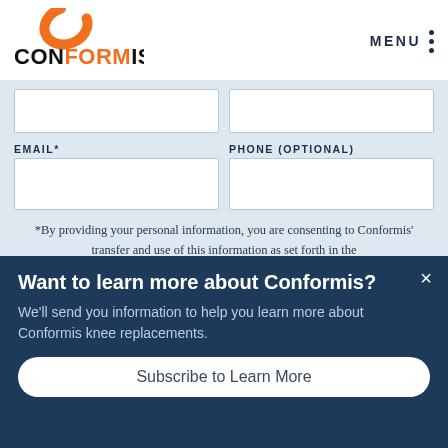[Figure (logo): Conformis logo with orange C swoosh and dark navy text]
MENU
EMAIL* | PHONE (OPTIONAL) form fields
*By providing your personal information, you are consenting to Conformis' transfer and use of this information as set forth in the Conformis Data Protection Statement
Want to learn more about Conformis?
We'll send you information to help you learn more about Conformis knee replacements.
Subscribe to Learn More